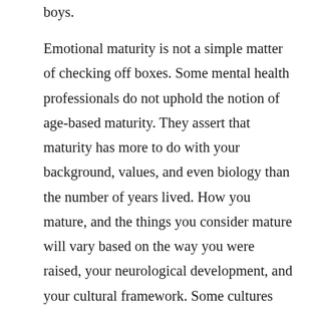boys.
Emotional maturity is not a simple matter of checking off boxes. Some mental health professionals do not uphold the notion of age-based maturity. They assert that maturity has more to do with your background, values, and even biology than the number of years lived. How you mature, and the things you consider mature will vary based on the way you were raised, your neurological development, and your cultural framework. Some cultures value autonomy more than emotional depth, and maturity will be marked by the ability to take care of oneself. Other cultures value emotional depth, and dependence is not seen as a pitfall, but a lack of emotional intelligence.
In addition, it is worth noting that maturity of